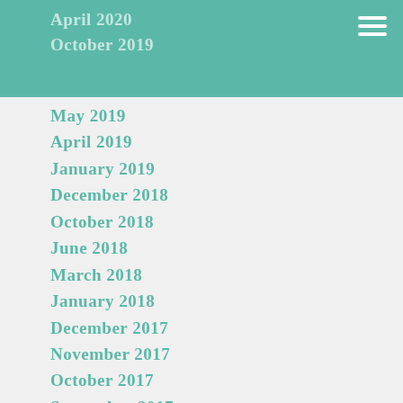April 2020
October 2019
May 2019
April 2019
January 2019
December 2018
October 2018
June 2018
March 2018
January 2018
December 2017
November 2017
October 2017
September 2017
August 2017
June 2017
May 2017
April 2017
February 2017
January 2017
December 2016